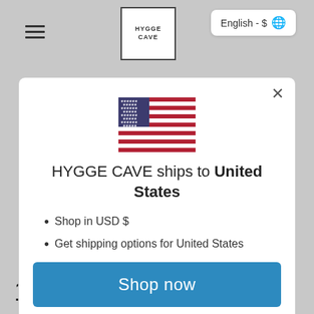[Figure (screenshot): Hamburger menu icon (three horizontal lines) in top left corner of website]
[Figure (logo): HYGGE CAVE logo in a square border at top center]
English - $
[Figure (illustration): US flag emoji/icon centered in modal]
HYGGE CAVE ships to United States
Shop in USD $
Get shipping options for United States
Shop now
Change shipping country
13 Rainbow